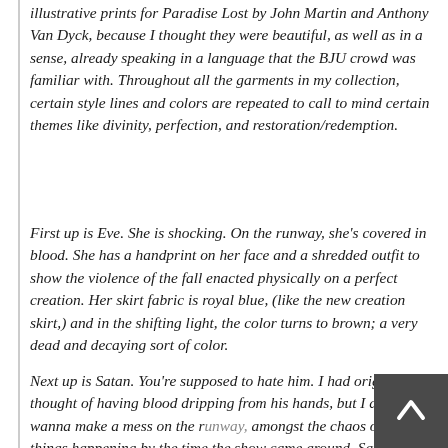illustrative prints for Paradise Lost by John Martin and Anthony Van Dyck, because I thought they were beautiful, as well as in a sense, already speaking in a language that the BJU crowd was familiar with. Throughout all the garments in my collection, certain style lines and colors are repeated to call to mind certain themes like divinity, perfection, and restoration/redemption.
First up is Eve. She is shocking. On the runway, she's covered in blood. She has a handprint on her face and a shredded outfit to show the violence of the fall enacted physically on a perfect creation. Her skirt fabric is royal blue, (like the new creation skirt,) and in the shifting light, the color turns to brown; a very dead and decaying sort of color.
Next up is Satan. You're supposed to hate him. I had originally thought of having blood dripping from his hands, but I didn't wanna make a mess on the runway, amongst the chaos of other things happening by the time the show came around. Satan is void of color and